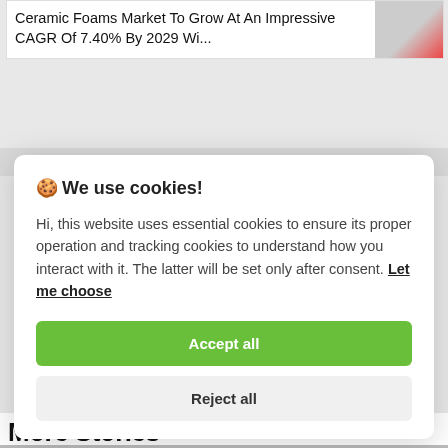Ceramic Foams Market To Grow At An Impressive CAGR Of 7.40% By 2029 Wi...
🍪 We use cookies!

Hi, this website uses essential cookies to ensure its proper operation and tracking cookies to understand how you interact with it. The latter will be set only after consent. Let me choose

[Accept all]
[Reject all]
More Stories